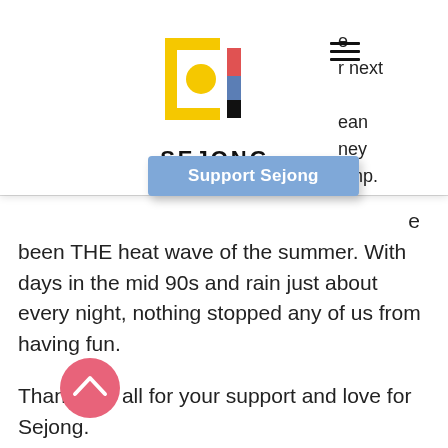[Figure (logo): Sejong cultural organization logo — yellow square bracket frame with a yellow circle dot, red and blue vertical stripe, and black vertical stripe; text SEJONG below in bold spaced capitals]
[Figure (other): Blue rectangular button labeled 'Support Sejong' in white bold text]
e
r next
ean
ney
amp.
e
been THE heat wave of the summer. With days in the mid 90s and rain just about every night, nothing stopped any of us from having fun.
Thank you all for your support and love for Sejong.
[Figure (other): Pink circular scroll-to-top button with white chevron/arrow pointing upward]